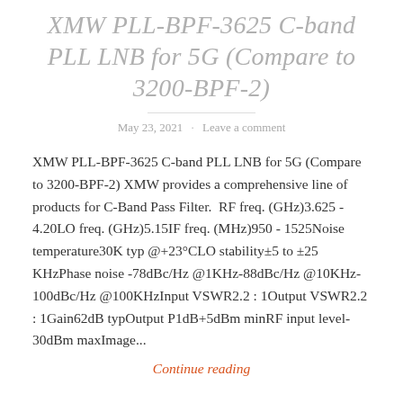XMW PLL-BPF-3625 C-band PLL LNB for 5G (Compare to 3200-BPF-2)
May 23, 2021 · Leave a comment
XMW PLL-BPF-3625 C-band PLL LNB for 5G (Compare to 3200-BPF-2) XMW provides a comprehensive line of products for C-Band Pass Filter.  RF freq. (GHz)3.625 - 4.20LO freq. (GHz)5.15IF freq. (MHz)950 - 1525Noise temperature30K typ @+23°CLO stability±5 to ±25 KHzPhase noise -78dBc/Hz @1KHz-88dBc/Hz @10KHz-100dBc/Hz @100KHzInput VSWR2.2 : 1Output VSWR2.2 : 1Gain62dB typOutput P1dB+5dBm minRF input level-30dBm maxImage...
Continue reading